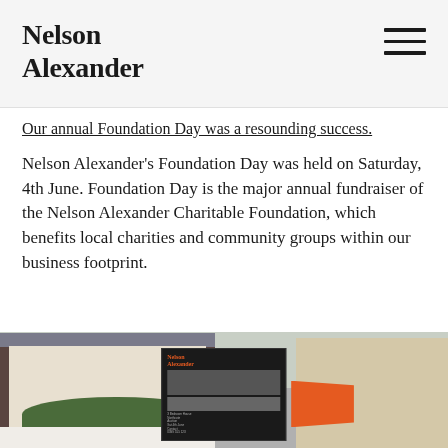Nelson Alexander
Our annual Foundation Day was a resounding success.
Nelson Alexander's Foundation Day was held on Saturday, 4th June. Foundation Day is the major annual fundraiser of the Nelson Alexander Charitable Foundation, which benefits local charities and community groups within our business footprint.
[Figure (photo): Exterior photo of a Victorian terrace house with a white picket fence, green shrubs, and a Nelson Alexander real estate sign board displaying property details. An orange auction flag is visible on the right. Modern units are visible in the background on the right.]